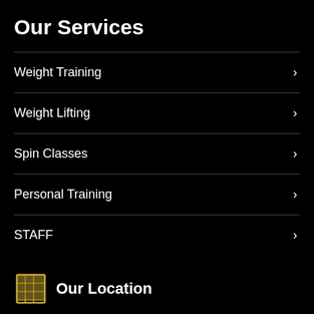Our Services
Weight Training
Weight Lifting
Spin Classes
Personal Training
STAFF
Our Location